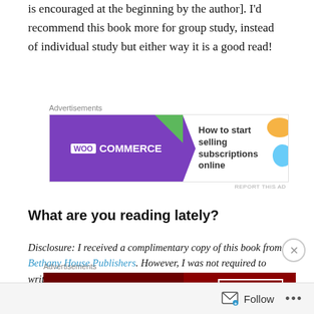is encouraged at the beginning by the author]. I'd recommend this book more for group study, instead of individual study but either way it is a good read!
[Figure (screenshot): WooCommerce advertisement banner: 'How to start selling subscriptions online']
What are you reading lately?
Disclosure: I received a complimentary copy of this book from Bethany House Publishers. However, I was not required to write a positive review. The thoughts expressed above are entirely my own. Thanks to Bethany House for the chance to read this great book!
[Figure (screenshot): Advertisement banner: KISS BORING with SHOP NOW button on dark red background]